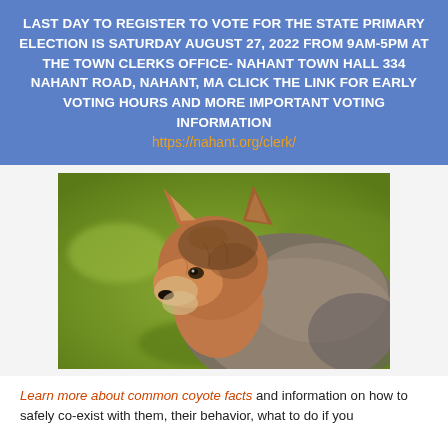LAST DAY TO REGISTER TO VOTE FOR THE STATE PRIMARY ELECTION IS SATURDAY AUGUST 27, 2022 FROM 9AM-5PM AT THE TOWN CLERKS OFFICE- NAHANT TOWN HALL 334 NAHANT ROAD, NAHANT, MA CLICK THE LINK FOR EARLY VOTING HOURS AND MORE IMPORTANT VOTING INFORMATION https://nahant.org/clerk/
[Figure (photo): Close-up photo of a coyote looking to the left, with brown and grey fur, against a blurred green background]
Learn more about common coyote facts and information on how to safely co-exist with them, their behavior, what to do if you